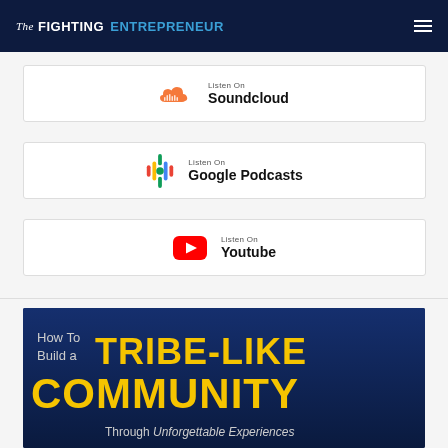The Fighting Entrepreneur
[Figure (other): Listen On Soundcloud button with Soundcloud orange cloud icon]
[Figure (other): Listen On Google Podcasts button with colorful Google Podcasts icon]
[Figure (other): Listen On Youtube button with red YouTube play button icon]
[Figure (illustration): How To Build a TRIBE-LIKE COMMUNITY Through Unforgettable Experiences - dark blue background promotional image]